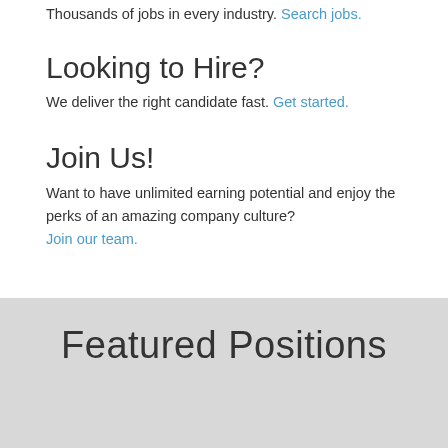Thousands of jobs in every industry. Search jobs.
Looking to Hire?
We deliver the right candidate fast. Get started.
Join Us!
Want to have unlimited earning potential and enjoy the perks of an amazing company culture? Join our team.
Featured Positions